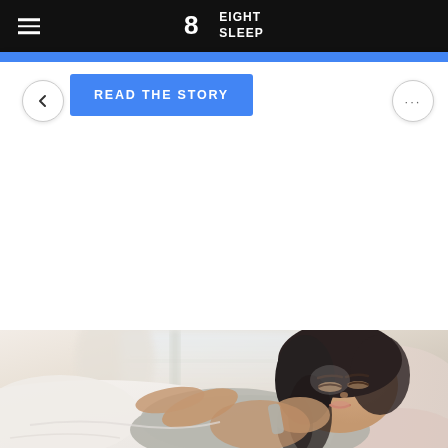Eight Sleep
READ THE STORY
[Figure (photo): Woman with dark hair sleeping peacefully in bed, wearing a light grey tank top, resting against white pillows with soft natural light from a window in the background]